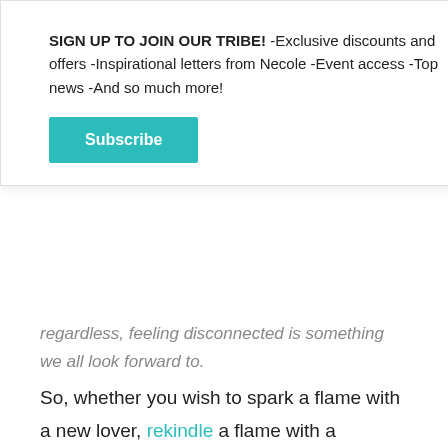SIGN UP TO JOIN OUR TRIBE! -Exclusive discounts and offers -Inspirational letters from Necole -Event access -Top news -And so much more!
Subscribe
regardless, feeling disconnected is something we all look forward to.
So, whether you wish to spark a flame with a new lover, rekindle a flame with a longtime love, travel with your beloved for a short romantic break, or go on the quintessential honeymoon after your wedding, here are the most romantic travel destinations worldwide to set the right mood